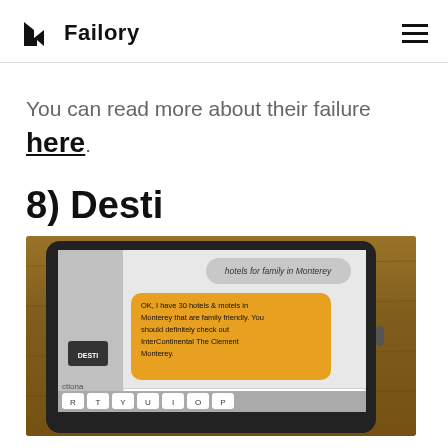Failory
You can read more about their failure here.
8) Desti
[Figure (screenshot): A screenshot of a tablet (iPad) showing the Desti travel app interface. A chat-style conversation is visible: a user asks 'hotels for family in Monterey' and the Desti app (with a yellow chat bubble) responds: 'OK, I have 30 hotels & motels in Monterey that are family friendly. You should definitely check out InterContinental The Clement Monterey.' The tablet is sitting on a wooden surface and has a keyboard visible at the bottom.]